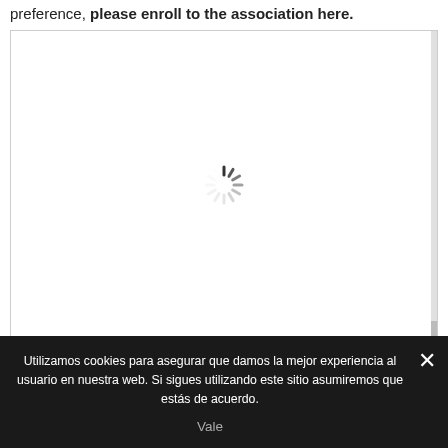preference, please enroll to the association here.
[Figure (screenshot): White content area with a loading spinner (animated dots in a circle) centered within it, representing an embedded iframe or content loading state.]
Utilizamos cookies para asegurar que damos la mejor experiencia al usuario en nuestra web. Si sigues utilizando este sitio asumiremos que estás de acuerdo.
Vale